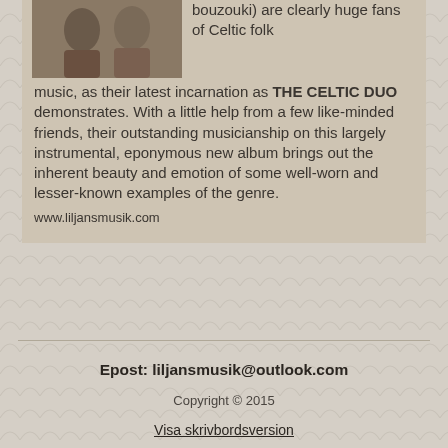[Figure (photo): Partial view of a photo showing two musicians, cropped at top-left of the review card]
bouzouki) are clearly huge fans of Celtic folk music, as their latest incarnation as THE CELTIC DUO demonstrates. With a little help from a few like-minded friends, their outstanding musicianship on this largely instrumental, eponymous new album brings out the inherent beauty and emotion of some well-worn and lesser-known examples of the genre.
www.liljansmusik.com
Epost: liljansmusik@outlook.com
Copyright © 2015
Visa skrivbordsversion